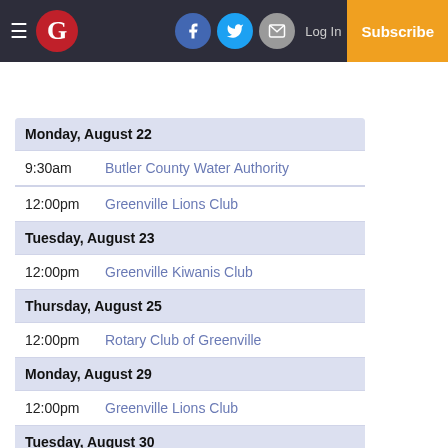G | Log In | Subscribe (navigation bar with Facebook, Twitter, Mail icons)
Monday, August 22 — 9:30am Butler County Water Authority; 12:00pm Greenville Lions Club
Tuesday, August 23 — 12:00pm Greenville Kiwanis Club
Thursday, August 25 — 12:00pm Rotary Club of Greenville
Monday, August 29 — 12:00pm Greenville Lions Club
Tuesday, August 30 — 12:00pm Greenville Kiwanis Club
Thursday, September 1 — 12:00pm Rotary Club of Greenville (partial)